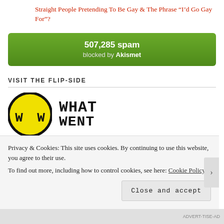Straight People Pretending To Be Gay & The Phrase “I’d Go Gay For”?
[Figure (infographic): Green Akismet spam counter widget showing 507,285 spam blocked by Akismet]
VISIT THE FLIP-SIDE
[Figure (logo): What Went Wrong logo: yellow circle with W W letters and text WHAT WENT to the right]
Privacy & Cookies: This site uses cookies. By continuing to use this website, you agree to their use.
To find out more, including how to control cookies, see here: Cookie Policy
Close and accept